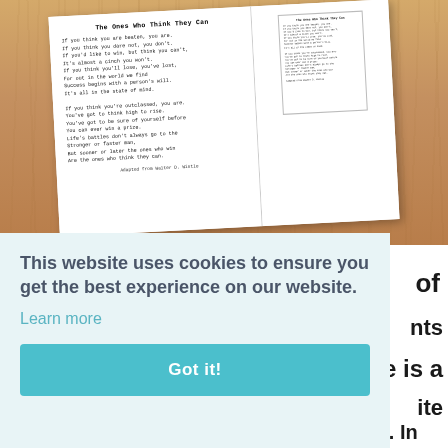[Figure (photo): An open notebook/journal resting on a wooden table. The left page shows a poem titled 'The Ones Who Think They Can' with handwritten-style typewriter font text and attribution 'Adapted from Walter D. Wintle'. The right page shows a smaller thumbnail version of the same poem.]
This website uses cookies to ensure you get the best experience on our website.
Learn more
Got it!
of
nts
e is a
ite
the poem to me privately, or to the class. In